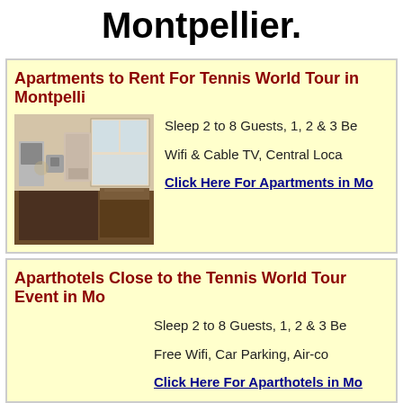Montpellier.
Apartments to Rent For Tennis World Tour in Montpellier
[Figure (photo): Interior photo of a modern apartment kitchen and dining area]
Sleep 2 to 8 Guests, 1, 2 & 3 Be
Wifi & Cable TV, Central Loca
Click Here For Apartments in Mo
Aparthotels Close to the Tennis World Tour Event in Mo
Sleep 2 to 8 Guests, 1, 2 & 3 Be
Free Wifi, Car Parking, Air-co
Click Here For Aparthotels in Mo